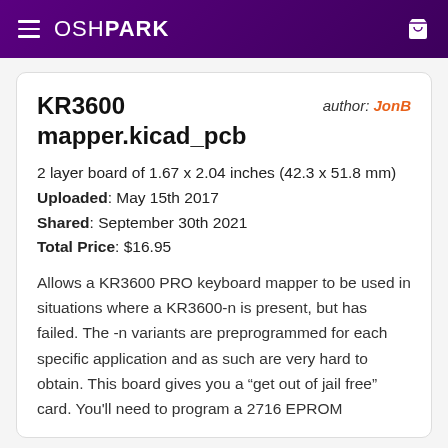OSHPARK
KR3600
mapper.kicad_pcb
author: JonB
2 layer board of 1.67 x 2.04 inches (42.3 x 51.8 mm)
Uploaded: May 15th 2017
Shared: September 30th 2021
Total Price: $16.95
Allows a KR3600 PRO keyboard mapper to be used in situations where a KR3600-n is present, but has failed. The -n variants are preprogrammed for each specific application and as such are very hard to obtain. This board gives you a “get out of jail free” card. You'll need to program a 2716 EPROM